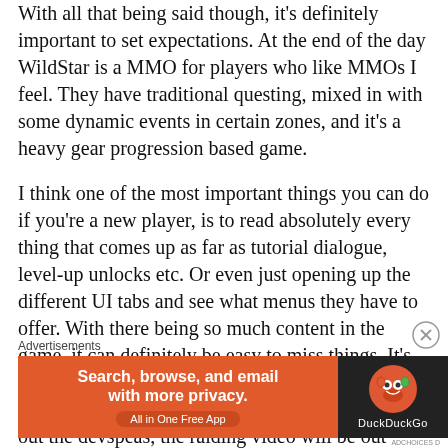With all that being said though, it's definitely important to set expectations. At the end of the day WildStar is a MMO for players who like MMOs I feel. They have traditional questing, mixed in with some dynamic events in certain zones, and it's a heavy gear progression based game.
I think one of the most important things you can do if you're a new player, is to read absolutely every thing that comes up as far as tutorial dialogue, level-up unlocks etc. Or even just opening up the different UI tabs and see what menus they have to offer. With there being so much content in the game, it can definitely be easy to miss things. It's very common from new players I've seen in beta. On that note, I'd definitely make sure you check out the devspeas, the raiding video will be out Tuesday,
Advertisements
[Figure (other): DuckDuckGo advertisement banner: orange left side with text 'Search, browse, and email with more privacy. All in One Free App' and dark right side with DuckDuckGo logo]